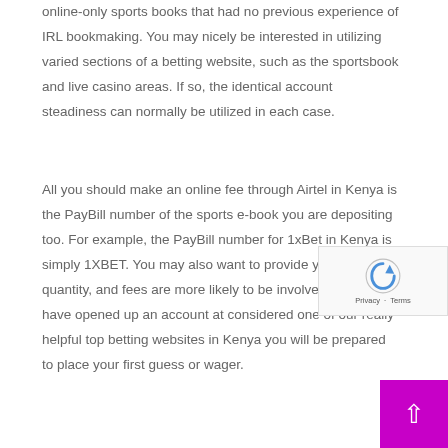online-only sports books that had no previous experience of IRL bookmaking. You may nicely be interested in utilizing varied sections of a betting website, such as the sportsbook and live casino areas. If so, the identical account steadiness can normally be utilized in each case.
All you should make an online fee through Airtel in Kenya is the PayBill number of the sports e-book you are depositing too. For example, the PayBill number for 1xBet in Kenya is simply 1XBET. You may also want to provide your cellphone quantity, and fees are more likely to be involved. Once you have opened up an account at considered one of our really helpful top betting websites in Kenya you will be prepared to place your first guess or wager.